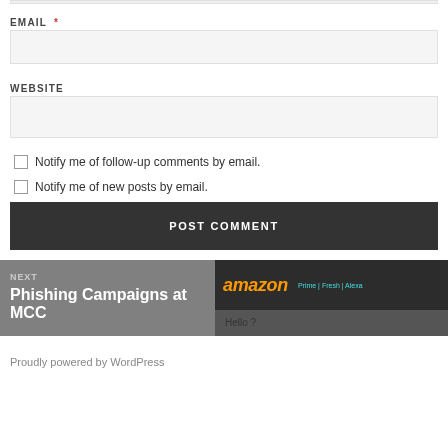EMAIL *
WEBSITE
Notify me of follow-up comments by email.
Notify me of new posts by email.
POST COMMENT
NEXT
Phishing Campaigns at MCC
[Figure (screenshot): Amazon banner with logo and Prime | Fresh | Alexa links, and Hello? text below]
Proudly powered by WordPress